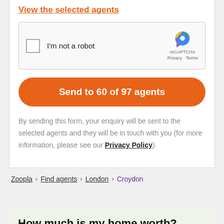View the selected agents
[Figure (screenshot): reCAPTCHA widget with checkbox labeled 'I'm not a robot' and reCAPTCHA logo with Privacy and Terms links]
Send to 60 of 97 agents
By sending this form, your enquiry will be sent to the selected agents and they will be in touch with you (for more information, please see our Privacy Policy).
Zoopla > Find agents > London > Croydon
How much is my home worth?